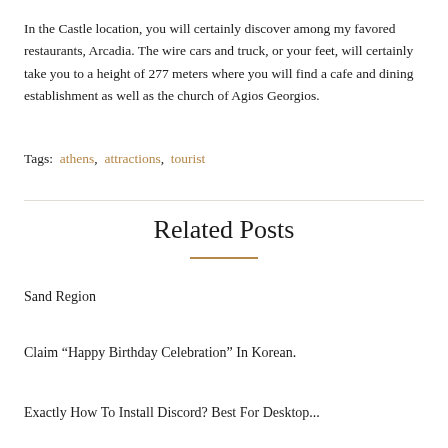In the Castle location, you will certainly discover among my favored restaurants, Arcadia. The wire cars and truck, or your feet, will certainly take you to a height of 277 meters where you will find a cafe and dining establishment as well as the church of Agios Georgios.
Tags: athens, attractions, tourist
Related Posts
Sand Region
Claim “Happy Birthday Celebration” In Korean.
Exactly How To Install Discord? Best For Desktop...